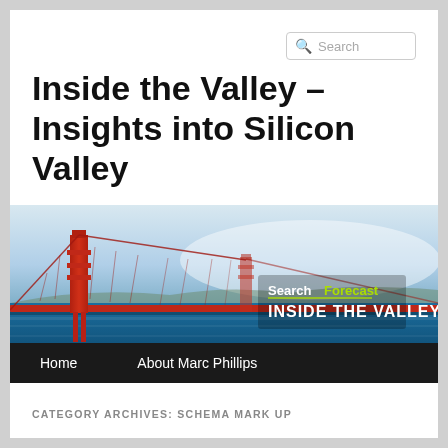Inside the Valley – Insights into Silicon Valley
[Figure (illustration): Website banner showing Golden Gate Bridge over San Francisco Bay with SearchForecast / INSIDE THE VALLEY branding overlay, followed by navigation bar with Home and About Marc Phillips links.]
CATEGORY ARCHIVES: SCHEMA MARK UP